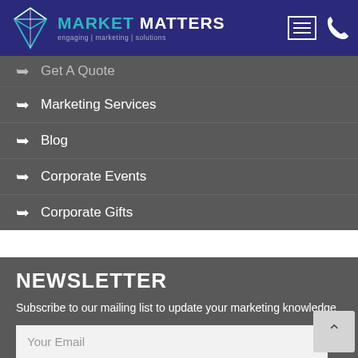MARKET MATTERS — engaging | marketing | solutions
Get A Quote
Marketing Services
Blog
Corporate Events
Corporate Gifts
NEWSLETTER
Subscribe to our mailing list to update your marketing knowledge
Your Email